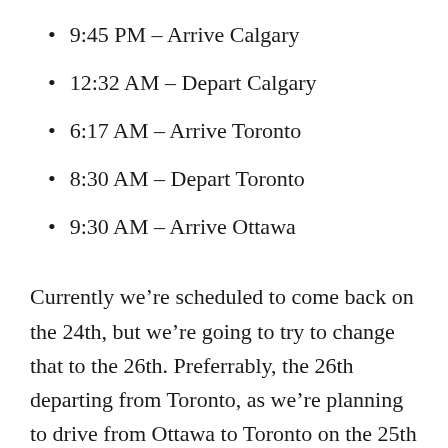9:45 PM – Arrive Calgary
12:32 AM – Depart Calgary
6:17 AM – Arrive Toronto
8:30 AM – Depart Toronto
9:30 AM – Arrive Ottawa
Currently we're scheduled to come back on the 24th, but we're going to try to change that to the 26th. Preferrably, the 26th departing from Toronto, as we're planning to drive from Ottawa to Toronto on the 25th for business and to meet up with some people. I'm hoping we can get the flights worked out anyway!
We're in Tim Horton's at the moment, as it was the only